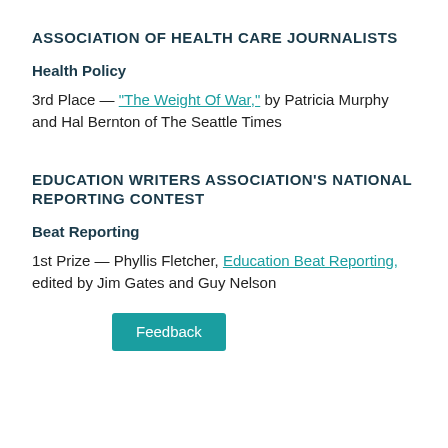ASSOCIATION OF HEALTH CARE JOURNALISTS
Health Policy
3rd Place — "The Weight Of War," by Patricia Murphy and Hal Bernton of The Seattle Times
EDUCATION WRITERS ASSOCIATION'S NATIONAL REPORTING CONTEST
Beat Reporting
1st Prize — Phyllis Fletcher, Education Beat Reporting, edited by Jim Gates and Guy Nelson
Feedback